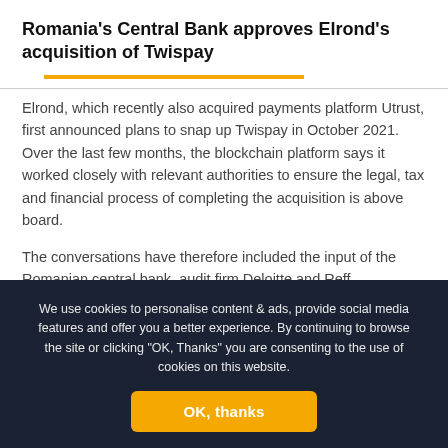Romania's Central Bank approves Elrond's acquisition of Twispay
Elrond, which recently also acquired payments platform Utrust, first announced plans to snap up Twispay in October 2021. Over the last few months, the blockchain platform says it worked closely with relevant authorities to ensure the legal, tax and financial process of completing the acquisition is above board.
The conversations have therefore included the input of the Romanian central bank, audit firm Deloitte and Reff &Associates.
The financial terms of the deal have not been disclosed.
We use cookies to personalise content & ads, provide social media features and offer you a better experience. By continuing to browse the site or clicking "OK, Thanks" you are consenting to the use of cookies on this website.